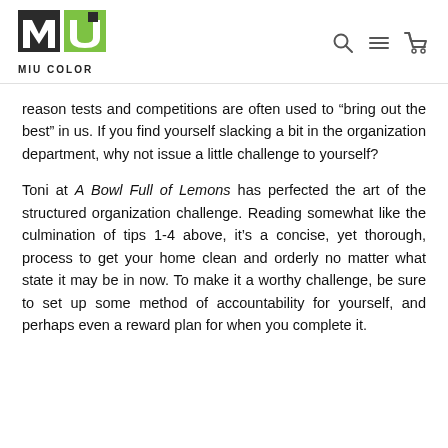MIU COLOR
reason tests and competitions are often used to “bring out the best” in us. If you find yourself slacking a bit in the organization department, why not issue a little challenge to yourself?
Toni at A Bowl Full of Lemons has perfected the art of the structured organization challenge. Reading somewhat like the culmination of tips 1-4 above, it’s a concise, yet thorough, process to get your home clean and orderly no matter what state it may be in now. To make it a worthy challenge, be sure to set up some method of accountability for yourself, and perhaps even a reward plan for when you complete it.